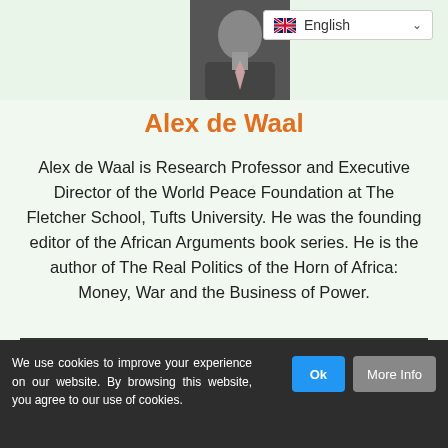[Figure (photo): Headshot photo of Alex de Waal in dark jacket]
Alex de Waal
Alex de Waal is Research Professor and Executive Director of the World Peace Foundation at The Fletcher School, Tufts University. He was the founding editor of the African Arguments book series. He is the author of The Real Politics of the Horn of Africa: Money, War and the Business of Power.
We use cookies to improve your experience on our website. By browsing this website, you agree to our use of cookies.